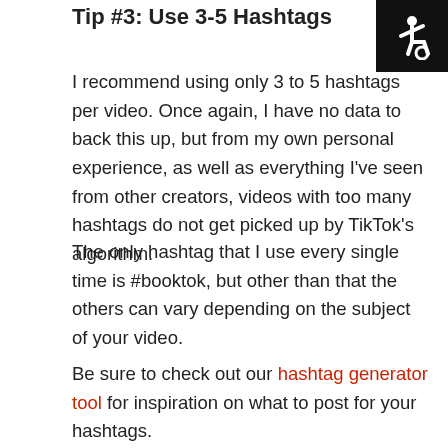Tip #3: Use 3-5 Hashtags
I recommend using only 3 to 5 hashtags per video. Once again, I have no data to back this up, but from my own personal experience, as well as everything I've seen from other creators, videos with too many hashtags do not get picked up by TikTok's algorithm.
The only hashtag that I use every single time is #booktok, but other than that the others can vary depending on the subject of your video.
Be sure to check out our hashtag generator tool for inspiration on what to post for your hashtags.